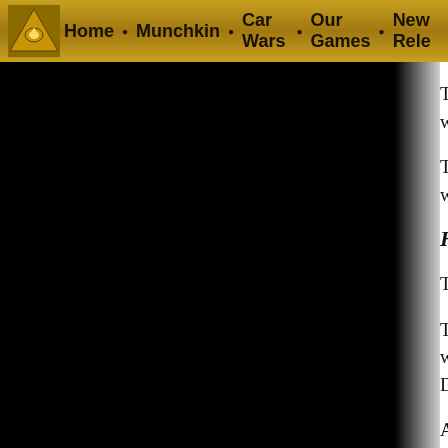Home • Munchkin • Car Wars • Our Games • New Rele...
This is the skill of using a cloak or cape, were a shield (see sidebar, p. 114).
There are two types of cloaks used in co weight, torso-length dress cloak that mo
Heavy Cloak
The heavy cloak is used as a shield; trea
The offensive maneuver with a heavy cl weapon (SS 12, Acc 1, Max 2, no half da Dodged or Blocked, and Parried by a we
At a 1-yard range, the attacker may hold is successful, one turn is needed to ready attacker may attempt to pull his opponen defender loses the contest, he is at -2 DX knees. On a critical failure, the defender the meantime, the cloak blinds the defen
Light Cloak